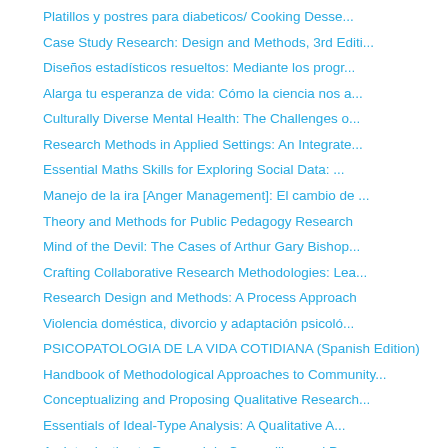Platillos y postres para diabeticos/ Cooking Desse...
Case Study Research: Design and Methods, 3rd Editi...
Diseños estadísticos resueltos: Mediante los progr...
Alarga tu esperanza de vida: Cómo la ciencia nos a...
Culturally Diverse Mental Health: The Challenges o...
Research Methods in Applied Settings: An Integrate...
Essential Maths Skills for Exploring Social Data: ...
Manejo de la ira [Anger Management]: El cambio de ...
Theory and Methods for Public Pedagogy Research
Mind of the Devil: The Cases of Arthur Gary Bishop...
Crafting Collaborative Research Methodologies: Lea...
Research Design and Methods: A Process Approach
Violencia doméstica, divorcio y adaptación psicoló...
PSICOPATOLOGIA DE LA VIDA COTIDIANA (Spanish Edition)
Handbook of Methodological Approaches to Community...
Conceptualizing and Proposing Qualitative Research...
Essentials of Ideal-Type Analysis: A Qualitative A...
An Introduction to Research in Counselling and Psy...